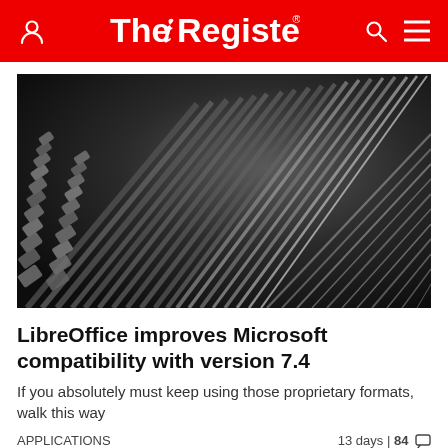The Register
[Figure (photo): Close-up black and white photograph of typewriter keys/type bars arranged in diagonal rows, shot from a low angle showing the metallic raised letter blocks and arms.]
LibreOffice improves Microsoft compatibility with version 7.4
If you absolutely must keep using those proprietary formats, walk this way
APPLICATIONS
13 days | 84